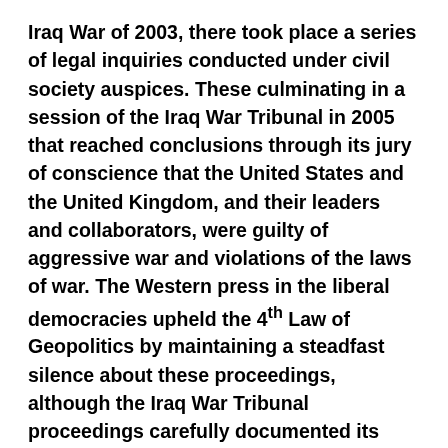Iraq War of 2003, there took place a series of legal inquiries conducted under civil society auspices. These culminating in a session of the Iraq War Tribunal in 2005 that reached conclusions through its jury of conscience that the United States and the United Kingdom, and their leaders and collaborators, were guilty of aggressive war and violations of the laws of war. The Western press in the liberal democracies upheld the 4th Law of Geopolitics by maintaining a steadfast silence about these proceedings, although the Iraq War Tribunal proceedings carefully documented its findings and enjoyed the participation of some of the world's leading jurists.
The same pattern with minor variations applies across the board with respect to global security issues. The